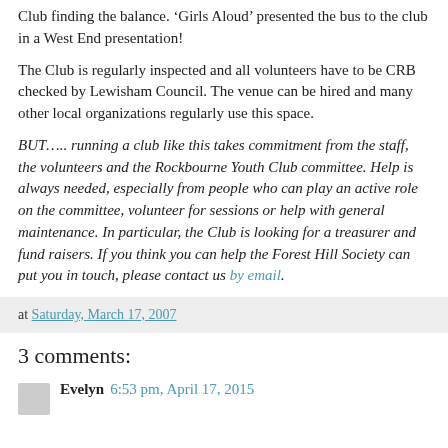Club finding the balance. 'Girls Aloud' presented the bus to the club in a West End presentation!
The Club is regularly inspected and all volunteers have to be CRB checked by Lewisham Council. The venue can be hired and many other local organizations regularly use this space.
BUT….. running a club like this takes commitment from the staff, the volunteers and the Rockbourne Youth Club committee. Help is always needed, especially from people who can play an active role on the committee, volunteer for sessions or help with general maintenance. In particular, the Club is looking for a treasurer and fund raisers. If you think you can help the Forest Hill Society can put you in touch, please contact us by email.
at Saturday, March 17, 2007
3 comments:
Evelyn  6:53 pm, April 17, 2015